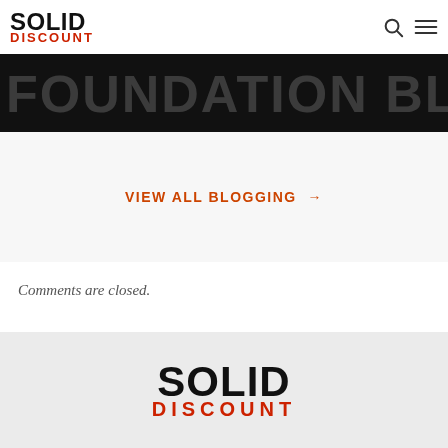SOLID DISCOUNT
[Figure (photo): Dark banner with large faded text reading partial letters of a word in white/gray against black background]
VIEW ALL BLOGGING →
Comments are closed.
SOLID DISCOUNT